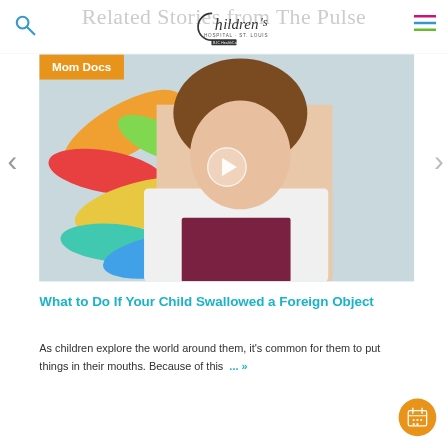Related Stories from The Pulse
[Figure (screenshot): Children's Hospital St. Louis BJC HealthCare logo in header with search icon on left and hamburger menu on right]
[Figure (photo): Video thumbnail showing a female doctor in white lab coat smiling, with colorful abstract art in background. Orange 'Mom Docs' badge in top left. Play button overlay in center.]
What to Do If Your Child Swallowed a Foreign Object
As children explore the world around them, it's common for them to put things in their mouths. Because of this ...